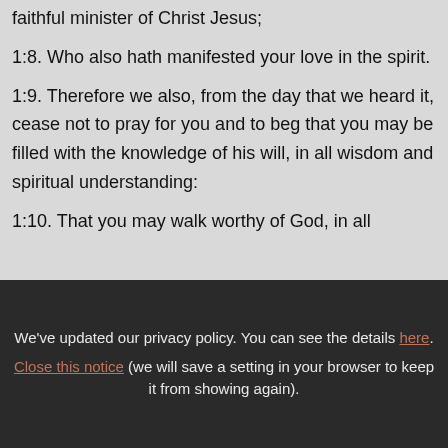faithful minister of Christ Jesus;
1:8. Who also hath manifested your love in the spirit.
1:9. Therefore we also, from the day that we heard it, cease not to pray for you and to beg that you may be filled with the knowledge of his will, in all wisdom and spiritual understanding:
1:10. That you may walk worthy of God, in all
We've updated our privacy policy. You can see the details here. Close this notice (we will save a setting in your browser to keep it from showing again).